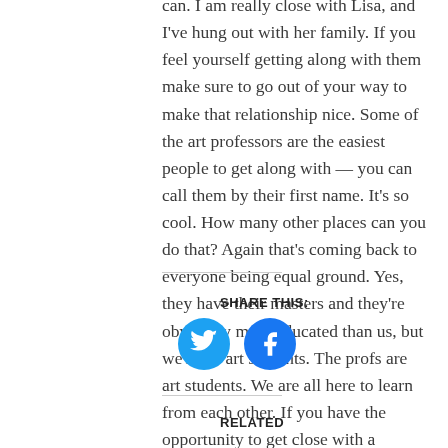can. I am really close with Lisa, and I've hung out with her family. If you feel yourself getting along with them make sure to go out of your way to make that relationship nice. Some of the art professors are the easiest people to get along with — you can call them by their first name. It's so cool. How many other places can you do that? Again that's coming back to everyone being equal ground. Yes, they have their masters and they're obviously more educated than us, but we're all art students. The profs are art students. We are all here to learn from each other. If you have the opportunity to get close with a professor, definitely do it.
SHARE THIS:
[Figure (other): Two circular social media share buttons: Twitter (blue bird icon) and Facebook (blue f icon)]
RELATED